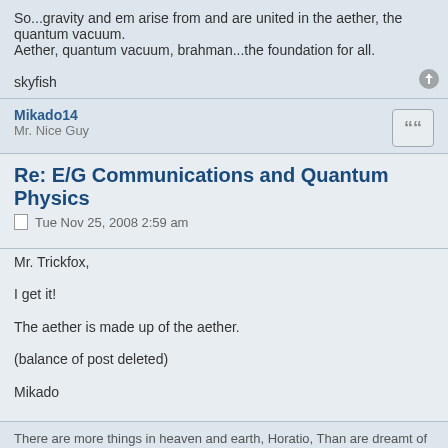So...gravity and em arise from and are united in the aether, the quantum vacuum.
Aether, quantum vacuum, brahman...the foundation for all.

skyfish
Mikado14
Mr. Nice Guy
Re: E/G Communications and Quantum Physics
Tue Nov 25, 2008 2:59 am
Mr. Trickfox,

I get it!

The aether is made up of the aether.

(balance of post deleted)

Mikado
There are more things in heaven and earth, Horatio, Than are dreamt of in your philosophy